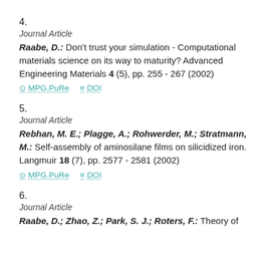4.
Journal Article
Raabe, D.: Don't trust your simulation - Computational materials science on its way to maturity? Advanced Engineering Materials 4 (5), pp. 255 - 267 (2002)
MPG.PuRe   DOI
5.
Journal Article
Rebhan, M. E.; Plagge, A.; Rohwerder, M.; Stratmann, M.: Self-assembly of aminosilane films on silicidized iron. Langmuir 18 (7), pp. 2577 - 2581 (2002)
MPG.PuRe   DOI
6.
Journal Article
Raabe, D.; Zhao, Z.; Park, S. J.; Roters, F.: Theory of